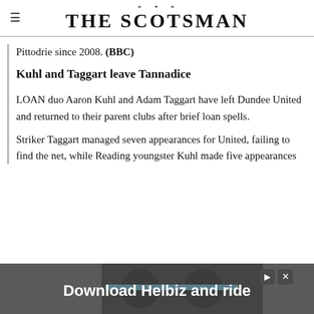THE SCOTSMAN
Pittodrie since 2008. (BBC)
Kuhl and Taggart leave Tannadice
LOAN duo Aaron Kuhl and Adam Taggart have left Dundee United and returned to their parent clubs after brief loan spells.
Striker Taggart managed seven appearances for United, failing to find the net, while Reading youngster Kuhl made five appearances
[Figure (other): Advertisement banner: Download Helbiz and ride, showing a bicycle handlebar image]